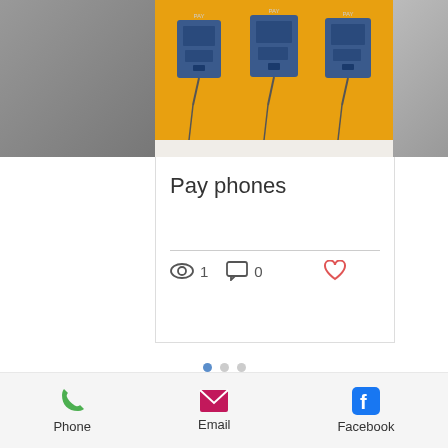[Figure (photo): Three pay phones mounted on an orange/yellow wall, partial views of other photos on left and right sides]
Pay phones
👁 1   💬 0   ♡
Foto-ology.com   Tel: 404.538.9183
[Figure (logo): Facebook 'f' logo in black]
© 2021 Foto-ology.
Phone   Email   Facebook